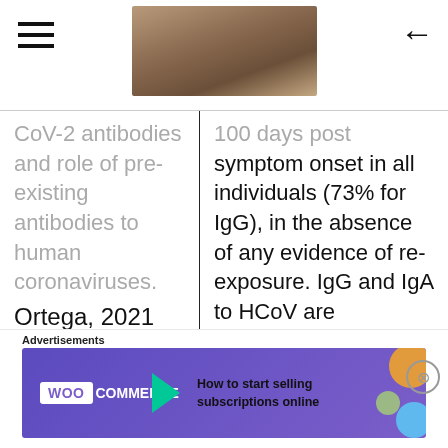[Figure (photo): Header image of what appears to be a sealed bag or medical sample, brown/tan tones]
CoV-2 antibodies and role of pre-existing antibodies to human coronaviruses. Ortega, 2021
100 days post symptom onset in all individuals (73% for IgG), in the absence of any evidence of re-exposure. IgG and IgA to HCoV are significantly higher in asymptomatic than symptomatic
[Figure (screenshot): WooCommerce advertisement banner: How to start selling subscriptions online]